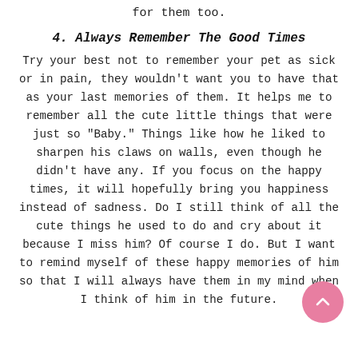for them too.
4. Always Remember The Good Times
Try your best not to remember your pet as sick or in pain, they wouldn't want you to have that as your last memories of them. It helps me to remember all the cute little things that were just so "Baby." Things like how he liked to sharpen his claws on walls, even though he didn't have any. If you focus on the happy times, it will hopefully bring you happiness instead of sadness. Do I still think of all the cute things he used to do and cry about it because I miss him? Of course I do. But I want to remind myself of these happy memories of him so that I will always have them in my mind when I think of him in the future.
5. ...